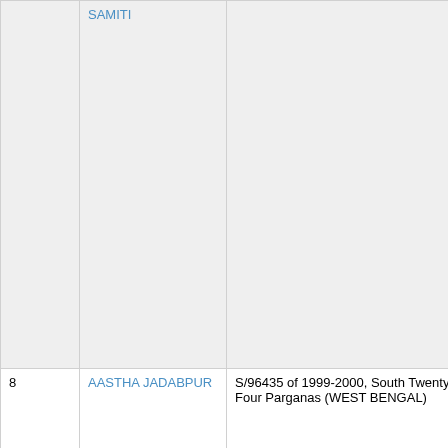| # | Name | Registration | Address |
| --- | --- | --- | --- |
|  | SAMITI |  | malwaPIN... |
| 8 | AASTHA JADABPUR | S/96435 of 1999-2000, South Twenty Four Parganas (WEST BENGAL) | CHOWHATI P.OCHOWH... DistrictSOU... Pin700149... |